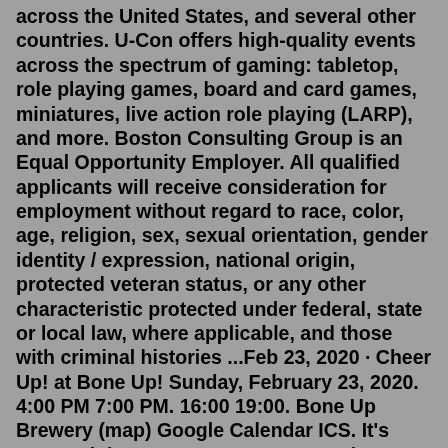across the United States, and several other countries. U-Con offers high-quality events across the spectrum of gaming: tabletop, role playing games, board and card games, miniatures, live action role playing (LARP), and more. Boston Consulting Group is an Equal Opportunity Employer. All qualified applicants will receive consideration for employment without regard to race, color, age, religion, sex, sexual orientation, gender identity / expression, national origin, protected veteran status, or any other characteristic protected under federal, state or local law, where applicable, and those with criminal histories ...Feb 23, 2020 · Cheer Up! at Bone Up! Sunday, February 23, 2020. 4:00 PM 7:00 PM. 16:00 19:00. Bone Up Brewery (map) Google Calendar ICS. It's Game Night at Bone Up Brewery! Join us a few other local game creators for a night of party board games! RSVP on Facebook here. It's more than two years since convention-goers went to PAX East, but it's making its return as the 'Game Industry Reunion' in Boston...